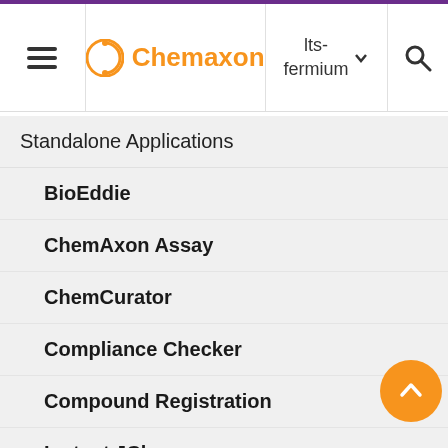≡  Chemaxon  lts-fermium ▾  🔍
Standalone Applications ◀
BioEddie ▷
ChemAxon Assay ▷
ChemCurator ▷
Compliance Checker ▷
Compound Registration ▷
Instant JChem ◀
Instant Jchem User Guide ◀
Getting Started ▷